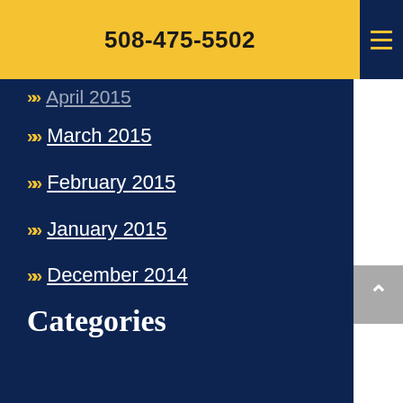508-475-5502
April 2015
March 2015
February 2015
January 2015
December 2014
Categories
Firm News
Real Estate Law
Real Estate Transactions
Residential Real Estate